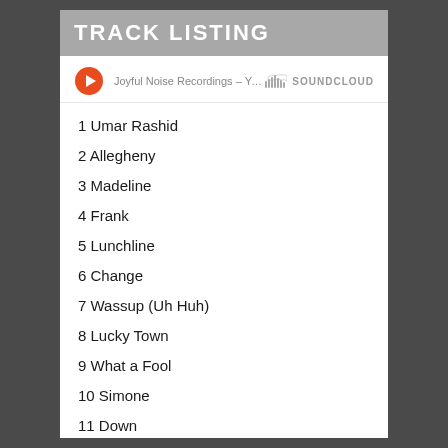TRACK LISTING
Joyful Noise Recordings – Yoni & G... SOUNDCLOUD
1 Umar Rashid
2 Allegheny
3 Madeline
4 Frank
5 Lunchline
6 Change
7 Wassup (Uh Huh)
8 Lucky Town
9 What a Fool
10 Simone
11 Down
12 The Lore